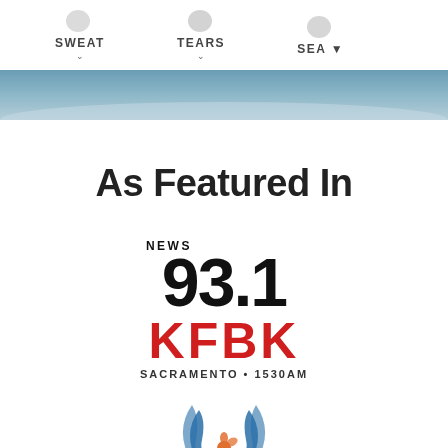[Figure (screenshot): Top navigation bar with SWEAT, TEARS, SEA labels with blob icons and chevron dropdowns, partial ocean/beach photo below]
As Featured In
[Figure (logo): News 93.1 KFBK Sacramento 1530AM radio station logo]
[Figure (logo): Partial logo with orange flower and blue swoosh wings at the bottom]